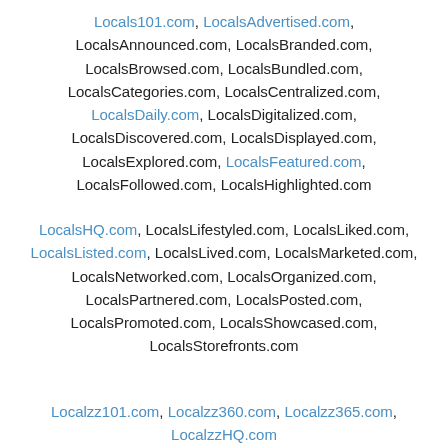Locals101.com, LocalsAdvertised.com, LocalsAnnounced.com, LocalsBranded.com, LocalsBrowsed.com, LocalsBundled.com, LocalsCategories.com, LocalsCentralized.com, LocalsDaily.com, LocalsDigitalized.com, LocalsDiscovered.com, LocalsDisplayed.com, LocalsExplored.com, LocalsFeatured.com, LocalsFollowed.com, LocalsHighlighted.com
LocalsHQ.com, LocalsLifestyled.com, LocalsLiked.com, LocalsListed.com, LocalsLived.com, LocalsMarketed.com, LocalsNetworked.com, LocalsOrganized.com, LocalsPartnered.com, LocalsPosted.com, LocalsPromoted.com, LocalsShowcased.com, LocalsStorefronts.com
Localzz101.com, Localzz360.com, Localzz365.com, LocalzzHQ.com